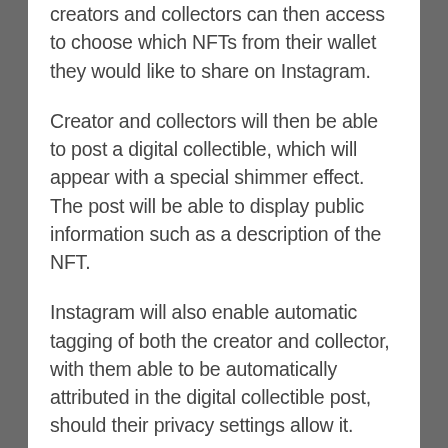creators and collectors can then access to choose which NFTs from their wallet they would like to share on Instagram.
Creator and collectors will then be able to post a digital collectible, which will appear with a special shimmer effect. The post will be able to display public information such as a description of the NFT.
Instagram will also enable automatic tagging of both the creator and collector, with them able to be automatically attributed in the digital collectible post, should their privacy settings allow it.